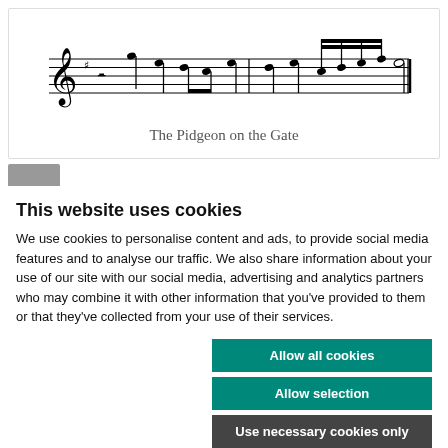[Figure (illustration): Musical score notation for 'The Pidgeon on the Gate' — a treble clef with one sharp, common time signature, and two bars of notes with stems and beams.]
The Pidgeon on the Gate
This website uses cookies
We use cookies to personalise content and ads, to provide social media features and to analyse our traffic. We also share information about your use of our site with our social media, advertising and analytics partners who may combine it with other information that you've provided to them or that they've collected from your use of their services.
Allow all cookies
Allow selection
Use necessary cookies only
✓ Necessary   □ Preferences   □ Statistics   □ Marketing   Show details ∨